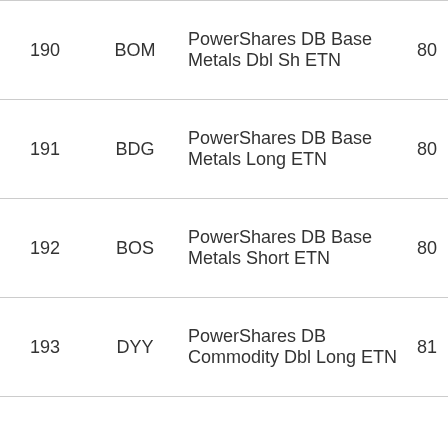|  |  |  |  |
| --- | --- | --- | --- |
| 190 | BOM | PowerShares DB Base Metals Dbl Sh ETN | 80 |
| 191 | BDG | PowerShares DB Base Metals Long ETN | 80 |
| 192 | BOS | PowerShares DB Base Metals Short ETN | 80 |
| 193 | DYY | PowerShares DB Commodity Dbl Long ETN | 81 |